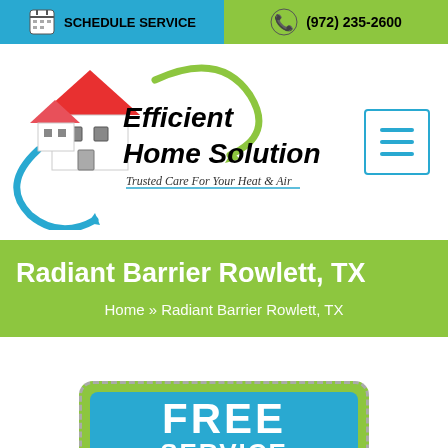SCHEDULE SERVICE | (972) 235-2600
[Figure (logo): Efficient Home Solutions logo with house graphic, blue and red arrows, green recycling arrow. Text: Efficient Home Solutions. Tagline: Trusted Care For Your Heat & Air]
Radiant Barrier Rowlett, TX
Home » Radiant Barrier Rowlett, TX
[Figure (infographic): Coupon box with dashed border on green background, blue rounded rectangle inside with FREE SERVICE text in white]